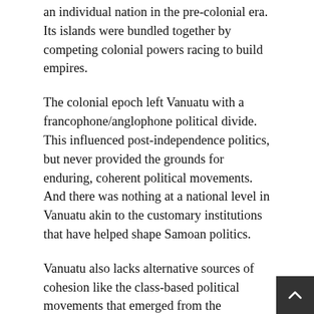an individual nation in the pre-colonial era. Its islands were bundled together by competing colonial powers racing to build empires.
The colonial epoch left Vanuatu with a francophone/anglophone political divide. This influenced post-independence politics, but never provided the grounds for enduring, coherent political movements. And there was nothing at a national level in Vanuatu akin to the customary institutions that have helped shape Samoan politics.
Vanuatu also lacks alternative sources of cohesion like the class-based political movements that emerged from the industrial revolution in many OECD countries.
As a result, Vanuatu has found itself stuck with fluid parliamentary loyalties and transactional politicking. There are bona fide reformers in Vanuatu, but they haven't been able to build a bloc in parliament large enough to govern with or a political movement larg